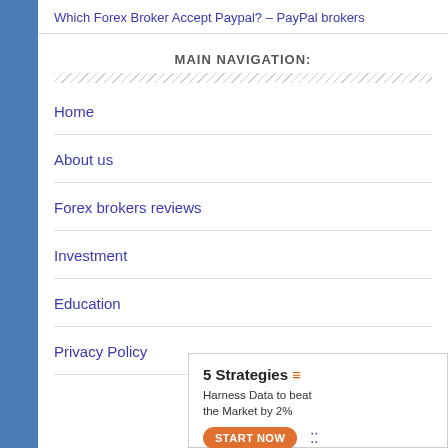Which Forex Broker Accept Paypal? – PayPal brokers
MAIN NAVIGATION:
Home
About us
Forex brokers reviews
Investment
Education
Privacy Policy
[Figure (other): Advertisement banner: 5 Strategies - Harness Data to beat the Market by 2X. START NOW button.]